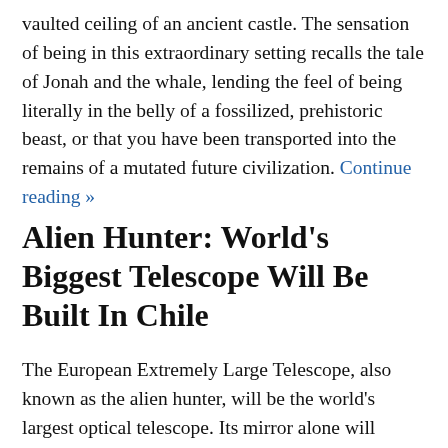vaulted ceiling of an ancient castle. The sensation of being in this extraordinary setting recalls the tale of Jonah and the whale, lending the feel of being literally in the belly of a fossilized, prehistoric beast, or that you have been transported into the remains of a mutated future civilization. Continue reading »
Alien Hunter: World's Biggest Telescope Will Be Built In Chile
The European Extremely Large Telescope, also known as the alien hunter, will be the world's largest optical telescope. Its mirror alone will